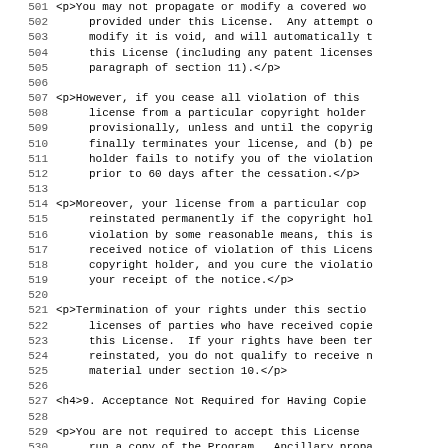501  <p>You may not propagate or modify a covered wo
502       provided under this License.  Any attempt o
503       modify it is void, and will automatically t
504       this License (including any patent licenses
505       paragraph of section 11).</p>
506
507  <p>However, if you cease all violation of this
508       license from a particular copyright holder
509       provisionally, unless and until the copyrig
510       finally terminates your license, and (b) pe
511       holder fails to notify you of the violation
512       prior to 60 days after the cessation.</p>
513
514  <p>Moreover, your license from a particular cop
515       reinstated permanently if the copyright hol
516       violation by some reasonable means, this is
517       received notice of violation of this Licens
518       copyright holder, and you cure the violatio
519       your receipt of the notice.</p>
520
521  <p>Termination of your rights under this sectio
522       licenses of parties who have received copie
523       this License.  If your rights have been ter
524       reinstated, you do not qualify to receive n
525       material under section 10.</p>
526
527  <h4>9. Acceptance Not Required for Having Copie
528
529  <p>You are not required to accept this License
530       run a copy of the Program.  Ancillary propa
531       occurring solely as a consequence of using
532       to receive a copy likewise does not require